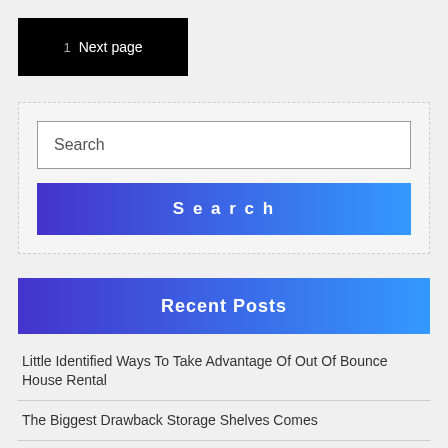1  Next page
Search
Search
Recent Posts
Little Identified Ways To Take Advantage Of Out Of Bounce House Rental
The Biggest Drawback Storage Shelves Comes
Rumors Lies and Same Day Payday Loans In Missisippi